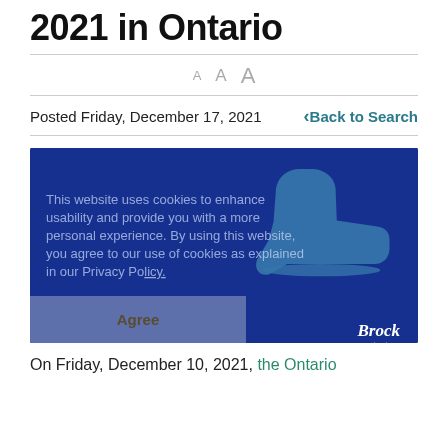2021 in Ontario
A A A
Posted Friday, December 17, 2021   < Back to Search
[Figure (screenshot): Blue background image with a light blue ice skate icon in the center. A cookie consent overlay reads: 'This website uses cookies to enhance usability and provide you with a more personal experience. By using this website, you agree to our use of cookies as explained in our Privacy Policy.' An 'Agree' button is shown at the bottom. The Brock university logo appears at the bottom right.]
On Friday, December 10, 2021, the Ontario